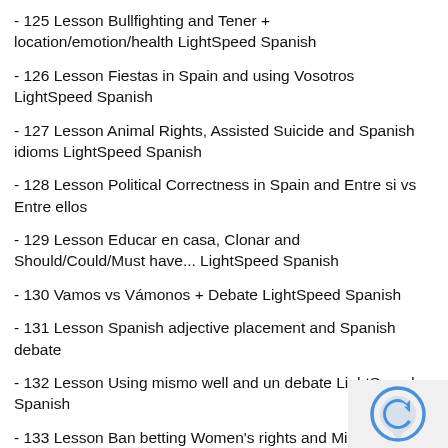- 125 Lesson Bullfighting and Tener + location/emotion/health LightSpeed Spanish
- 126 Lesson Fiestas in Spain and using Vosotros LightSpeed Spanish
- 127 Lesson Animal Rights, Assisted Suicide and Spanish idioms LightSpeed Spanish
- 128 Lesson Political Correctness in Spain and Entre si vs Entre ellos
- 129 Lesson Educar en casa, Clonar and Should/Could/Must have... LightSpeed Spanish
- 130 Vamos vs Vámonos + Debate LightSpeed Spanish
- 131 Lesson Spanish adjective placement and Spanish debate
- 132 Lesson Using mismo well and un debate LightSpeed Spanish
- 133 Lesson Ban betting Women's rights and Mientras Estuve